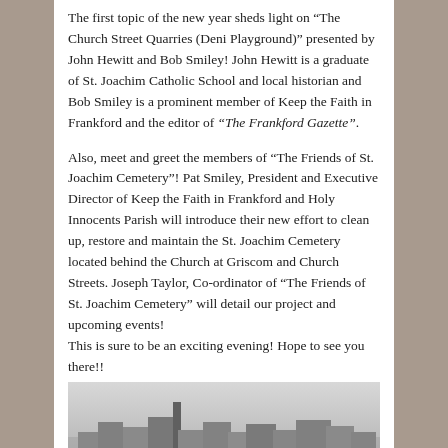The first topic of the new year sheds light on “The Church Street Quarries (Deni Playground)” presented by John Hewitt and Bob Smiley! John Hewitt is a graduate of St. Joachim Catholic School and local historian and Bob Smiley is a prominent member of Keep the Faith in Frankford and the editor of “The Frankford Gazette”.
Also, meet and greet the members of “The Friends of St. Joachim Cemetery”! Pat Smiley, President and Executive Director of Keep the Faith in Frankford and Holy Innocents Parish will introduce their new effort to clean up, restore and maintain the St. Joachim Cemetery located behind the Church at Griscom and Church Streets. Joseph Taylor, Co-ordinator of “The Friends of St. Joachim Cemetery” will detail our project and upcoming events! This is sure to be an exciting evening! Hope to see you there!!
[Figure (photo): Black and white historical photograph of a town or city skyline, showing buildings and a smokestack, taken from an elevated vantage point.]